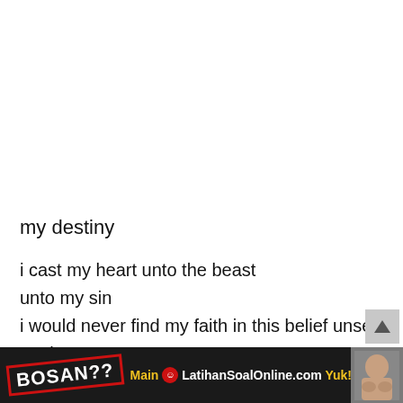my destiny
i cast my heart unto the beast
unto my sin
i would never find my faith in this belief unseen again
the solitude of youth
my conscience wearing thin
[Figure (infographic): Advertisement banner: black background, 'BOSAN??' text in white bold with red border stamp effect on left, then 'Main [red circle icon] LatihanSoalOnline.com Yuk!' text in yellow/white, and a photo of a child on the right.]